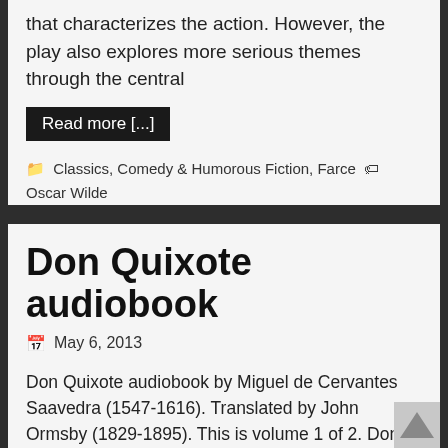that characterizes the action. However, the play also explores more serious themes through the central
Read more [...]
📁 Classics, Comedy & Humorous Fiction, Farce 🏷 Oscar Wilde
Don Quixote audiobook
May 6, 2013
Don Quixote audiobook by Miguel de Cervantes Saavedra (1547-1616). Translated by John Ormsby (1829-1895). This is volume 1 of 2. Don Quixote is an early novel written by Spanish author Miguel de Cervantes